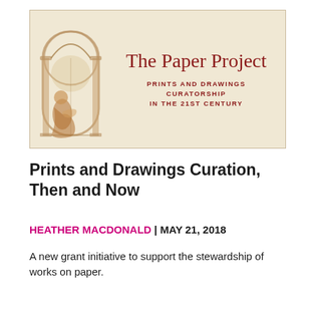[Figure (illustration): Banner image for 'The Paper Project: Prints and Drawings Curatorship in the 21st Century'. Beige/cream background with a sepia-toned illustration of a classical arch with a seated figure, and red serif text title and subtitle.]
Prints and Drawings Curation, Then and Now
HEATHER MACDONALD | MAY 21, 2018
A new grant initiative to support the stewardship of works on paper.